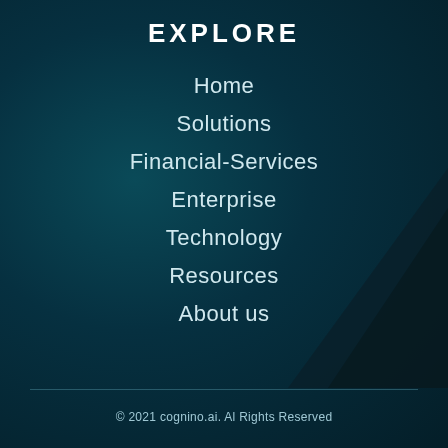EXPLORE
Home
Solutions
Financial-Services
Enterprise
Technology
Resources
About us
© 2021 cognino.ai. Al Rights Reserved